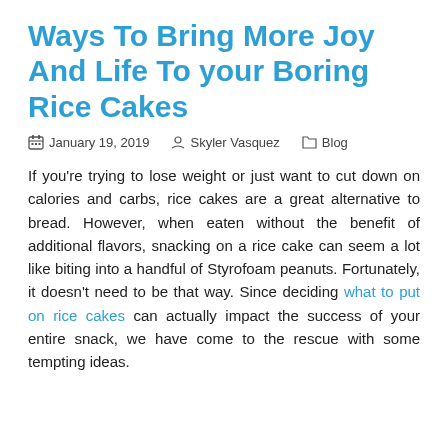Ways To Bring More Joy And Life To your Boring Rice Cakes
January 19, 2019   Skyler Vasquez   Blog
If you're trying to lose weight or just want to cut down on calories and carbs, rice cakes are a great alternative to bread. However, when eaten without the benefit of additional flavors, snacking on a rice cake can seem a lot like biting into a handful of Styrofoam peanuts. Fortunately, it doesn't need to be that way. Since deciding what to put on rice cakes can actually impact the success of your entire snack, we have come to the rescue with some tempting ideas.